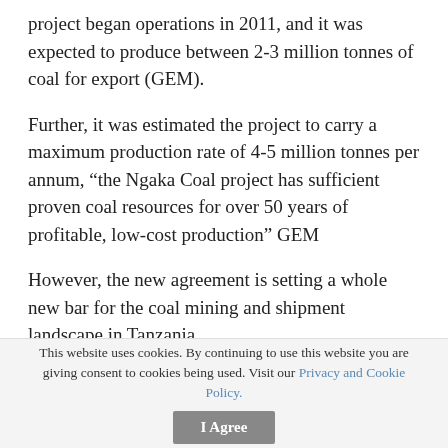project began operations in 2011, and it was expected to produce between 2-3 million tonnes of coal for export (GEM).
Further, it was estimated the project to carry a maximum production rate of 4-5 million tonnes per annum, “the Ngaka Coal project has sufficient proven coal resources for over 50 years of profitable, low-cost production” GEM
However, the new agreement is setting a whole new bar for the coal mining and shipment landscape in Tanzania.
The Ruvuma Coal Limited manager Mr Saidi Gadafi revealed during the event to load the coal onto the ship yesterday, argued that consignment brings the total
This website uses cookies. By continuing to use this website you are giving consent to cookies being used. Visit our Privacy and Cookie Policy.